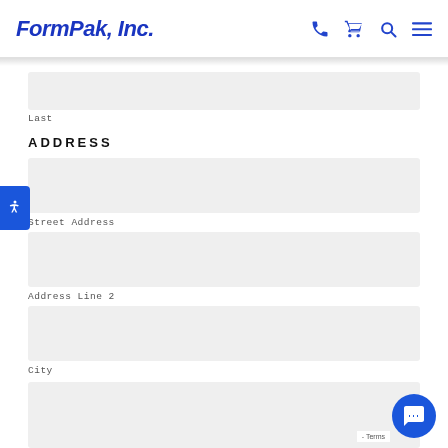FormPak, Inc.
Last
ADDRESS
Street Address
Address Line 2
City